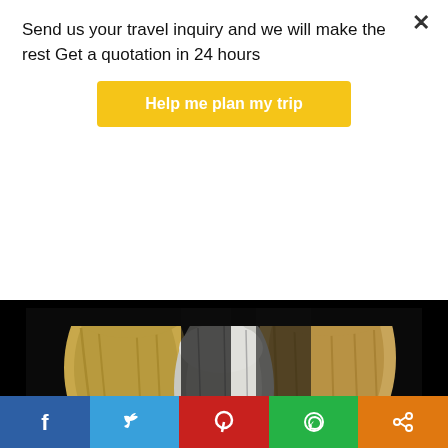Send us your travel inquiry and we will make the rest Get a quotation in 24 hours
Help me plan my trip
[Figure (photo): Close-up photo of cave stalactites or rock formations hanging from ceiling in a dark cave, illuminated to show tan/yellowish and white mineral formations against a black background. A small blue light is visible in the lower center.]
The grotto is a river grotto going through Bich Dong mountain. It's darker and can be visited by boat. The